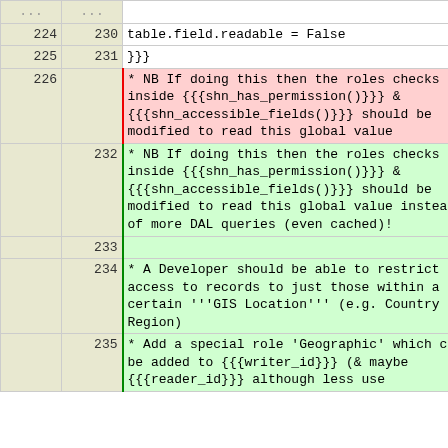| old | new | code |
| --- | --- | --- |
| ... | ... |  |
| 224 | 230 |     table.field.readable = False |
| 225 | 231 | }}} |
| 226 |  |     * NB If doing this then the roles checks inside {{{shn_has_permission()}}} & {{{shn_accessible_fields()}}} should be modified to read this global value |
|  | 232 |     * NB If doing this then the roles checks inside {{{shn_has_permission()}}} & {{{shn_accessible_fields()}}} should be modified to read this global value instead of more DAL queries (even cached)! |
|  | 233 |  |
|  | 234 |   * A Developer should be able to restrict access to records to just those within a certain '''GIS Location''' (e.g. Country or Region) |
|  | 235 |     * Add a special role 'Geographic' which can be added to {{{writer_id}}} (& maybe {{{reader_id}}} although less use |